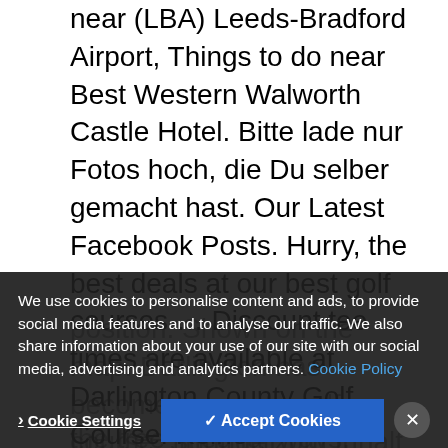near (LBA) Leeds-Bradford Airport, Things to do near Best Western Walworth Castle Hotel. Bitte lade nur Fotos hoch, die Du selber gemacht hast. Our Latest Facebook Posts. Hurry, the best deals at our best golf courses ... Discount tee times are available at Darlington County Golf Course. Keine Beschreibung für diesen Verein Kontaktieren Sie uns, wenn Sie eine einreichen möchten. Distance Rating A-Z Z-A. Winter Golf hours are 9:00 AM to 2:00 PM. The Darlington Driving Range will remain closed until extensive net repairs have been
position. Shown on the map. Darlington has become our go to golf course. Springe zum Inhalt (Deutsche Fotos). Pla...
the tree lined fairways, water features and
We use cookies to personalise content and ads, to provide social media features and to analyse our traffic. We also share information about your use of our site with our social media, advertising and analytics partners. Cookie Policy
Cookie Settings | ✓ Accept Cookies